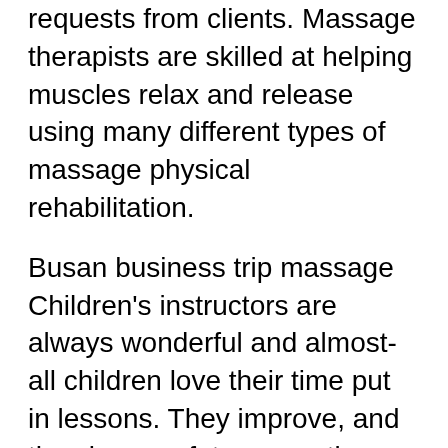requests from clients. Massage therapists are skilled at helping muscles relax and release using many different types of massage physical rehabilitation.
Busan business trip massage Children's instructors are always wonderful and almost-all children love their time put in lessons. They improve, and they learn safety precautions, along with perhaps even some tricks to explain you!
There are lots different regarding massage medicine. Some therapies use different exotic oils with fragrances that assist relax. Some forms of massage therapies focus one part of your body, even though some are performed on your physique.